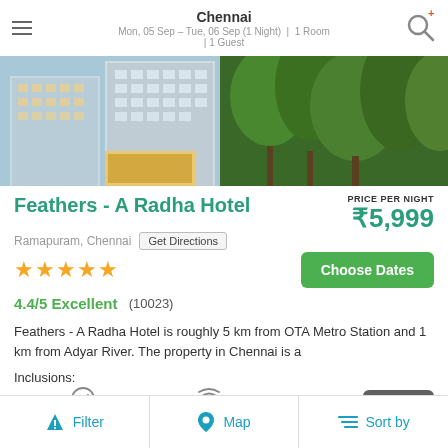Chennai
Mon, 05 Sep – Tue, 06 Sep (1 Night) | 1 Room | 1 Guest
[Figure (photo): Hotel exterior photo showing modern building with trees]
Feathers - A Radha Hotel
PRICE PER NIGHT ₹5,999
Ramapuram, Chennai  Get Directions
[Figure (other): 5 orange stars rating]
Choose Dates
4.4/5 Excellent  (10023)
Feathers - A Radha Hotel is roughly 5 km from OTA Metro Station and 1 km from Adyar River. The property in Chennai is a
Inclusions:
Free Cancellation
Free WiFi
Filter   Map   Sort by